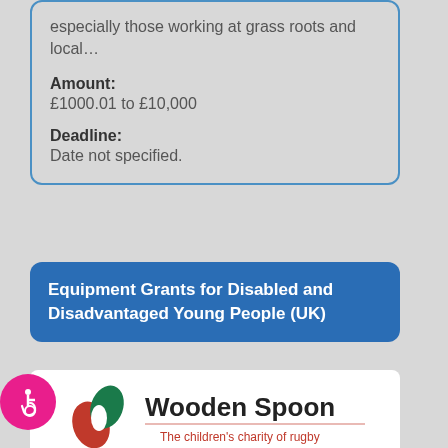especially those working at grass roots and local…
Amount:
£1000.01 to £10,000
Deadline:
Date not specified.
Equipment Grants for Disabled and Disadvantaged Young People (UK)
[Figure (logo): Wooden Spoon – The children's charity of rugby logo with red and green leaf shapes]